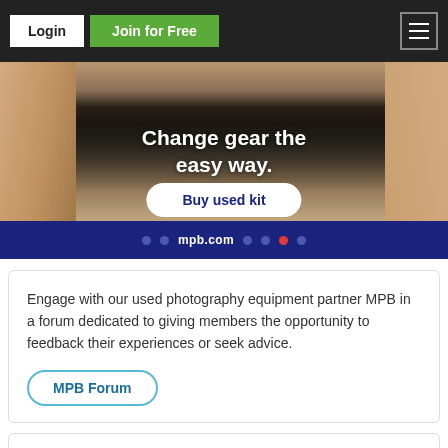Login | Join for Free
[Figure (photo): Advertisement banner for MPB.com showing hands holding a camera with overlay text 'Change gear the easy way.' and a 'Buy used kit' button, with mpb.com domain and navigation dots on a dark blue footer bar.]
Engage with our used photography equipment partner MPB in a forum dedicated to giving members the opportunity to feedback their experiences or seek advice.
MPB Forum
Get the latest photography news straight to your inbox by